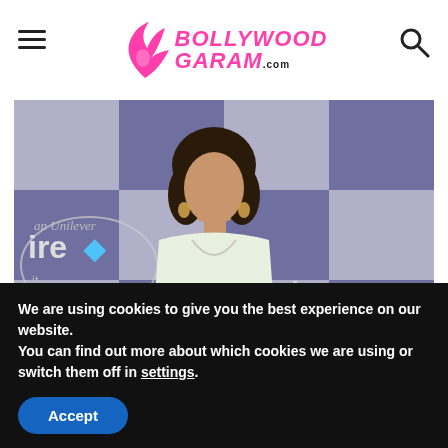Bollywood Garam .com
[Figure (photo): A woman in a white kurta standing in front of a blue and grey checkered backdrop with 'Hindustan Unilever Pure it' and 'aadat bharat' text visible]
We are using cookies to give you the best experience on our website.
You can find out more about which cookies we are using or switch them off in settings.
Accept